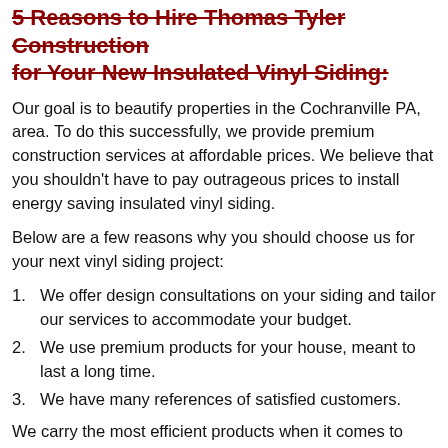5 Reasons to Hire Thomas Tyler Construction for Your New Insulated Vinyl Siding:
Our goal is to beautify properties in the Cochranville PA, area. To do this successfully, we provide premium construction services at affordable prices. We believe that you shouldn't have to pay outrageous prices to install energy saving insulated vinyl siding.
Below are a few reasons why you should choose us for your next vinyl siding project:
We offer design consultations on your siding and tailor our services to accommodate your budget.
We use premium products for your house, meant to last a long time.
We have many references of satisfied customers.
We carry the most efficient products when it comes to vinyl siding. New vinyl siding can provide today's homeowners with a number of features beyond the aesthetic value and…